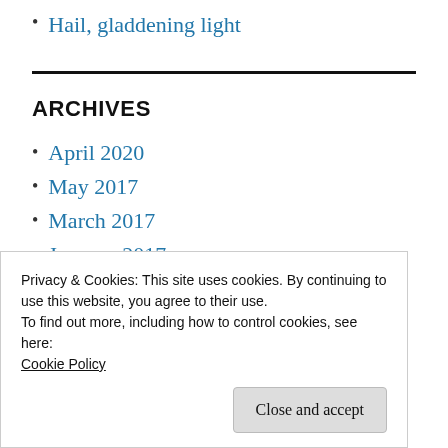Hail, gladdening light
ARCHIVES
April 2020
May 2017
March 2017
January 2017
November 2016
Privacy & Cookies: This site uses cookies. By continuing to use this website, you agree to their use.
To find out more, including how to control cookies, see here:
Cookie Policy